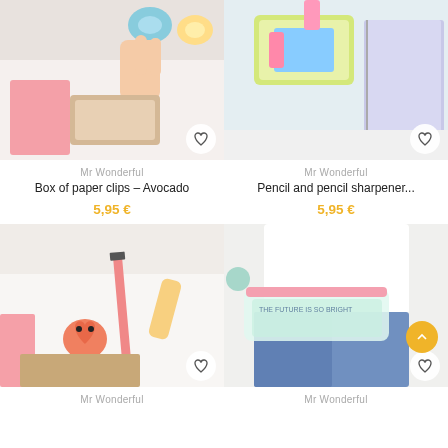[Figure (photo): Product photo of paper clips box - avocado themed stationery on white background]
Mr Wonderful
Box of paper clips – Avocado
5,95 €
[Figure (photo): Product photo of pencil and pencil sharpener - colorful stationery items]
Mr Wonderful
Pencil and pencil sharpener...
5,95 €
[Figure (photo): Product photo of pencil with heart-shaped eraser on white background with pink ruler]
Mr Wonderful
[Figure (photo): Product photo of decorative pencil case held by person in jeans and white shirt]